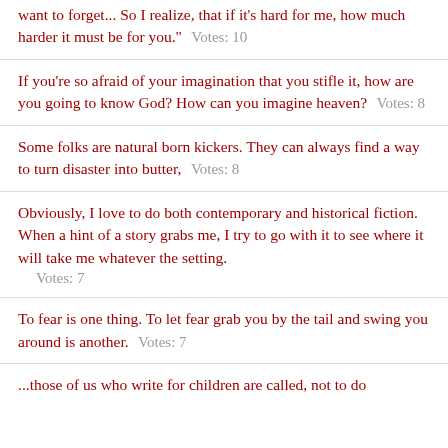want to forget... So I realize, that if it's hard for me, how much harder it must be for you." Votes: 10
If you're so afraid of your imagination that you stifle it, how are you going to know God? How can you imagine heaven? Votes: 8
Some folks are natural born kickers. They can always find a way to turn disaster into butter, Votes: 8
Obviously, I love to do both contemporary and historical fiction. When a hint of a story grabs me, I try to go with it to see where it will take me whatever the setting. Votes: 7
To fear is one thing. To let fear grab you by the tail and swing you around is another. Votes: 7
...those of us who write for children are called, not to do